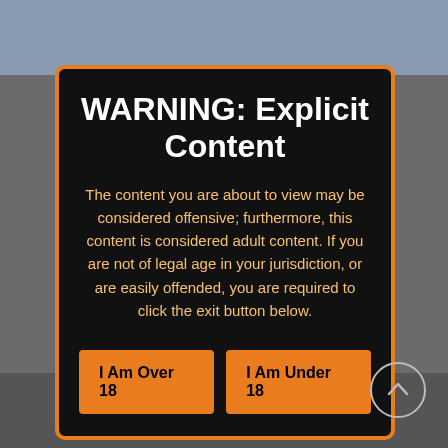WARNING: Explicit Content
The content you are about to view may be considered offensive; furthermore, this content is considered adult content. If you are not of legal age in your jurisdiction, or are easily offended, you are required to click the exit button below.
I Am Over 18
I Am Under 18